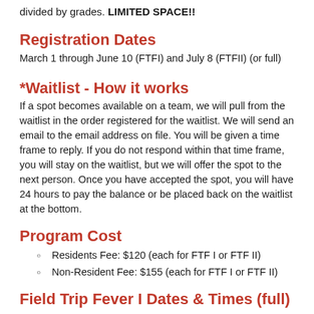divided by grades. LIMITED SPACE!!
Registration Dates
March 1 through June 10 (FTFI) and July 8 (FTFII) (or full)
*Waitlist - How it works
If a spot becomes available on a team, we will pull from the waitlist in the order registered for the waitlist. We will send an email to the email address on file. You will be given a time frame to reply. If you do not respond within that time frame, you will stay on the waitlist, but we will offer the spot to the next person. Once you have accepted the spot, you will have 24 hours to pay the balance or be placed back on the waitlist at the bottom.
Program Cost
Residents Fee: $120 (each for FTF I or FTF II)
Non-Resident Fee: $155 (each for FTF I or FTF II)
Field Trip Fever I Dates & Times (full)